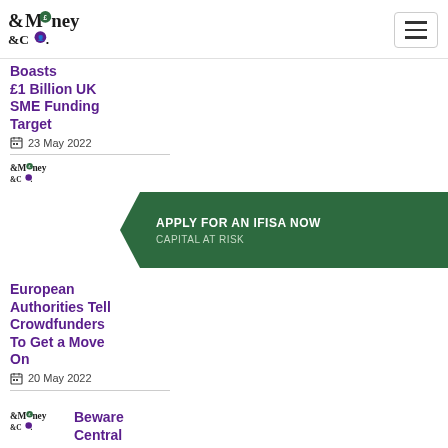Money &Co. logo and navigation
Boosts £1 Billion UK SME Funding Target
23 May 2022
[Figure (logo): Money &Co. small logo]
[Figure (infographic): APPLY FOR AN IFISA NOW - CAPITAL AT RISK banner in dark green with arrow shape]
European Authorities Tell Crowdfunders To Get a Move On
20 May 2022
[Figure (logo): Money &Co. small logo]
Beware Central